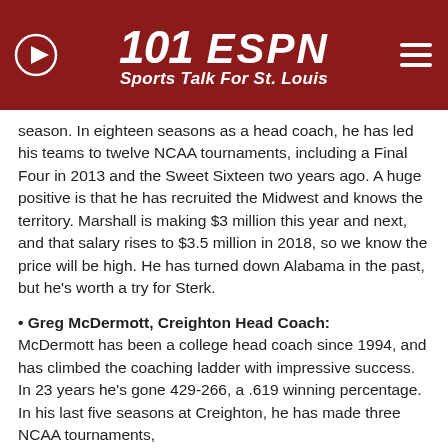101 ESPN Sports Talk For St. Louis
season. In eighteen seasons as a head coach, he has led his teams to twelve NCAA tournaments, including a Final Four in 2013 and the Sweet Sixteen two years ago. A huge positive is that he has recruited the Midwest and knows the territory. Marshall is making $3 million this year and next, and that salary rises to $3.5 million in 2018, so we know the price will be high. He has turned down Alabama in the past, but he's worth a try for Sterk.
• Greg McDermott, Creighton Head Coach: McDermott has been a college head coach since 1994, and has climbed the coaching ladder with impressive success. In 23 years he's gone 429-266, a .619 winning percentage. In his last five seasons at Creighton, he has made three NCAA tournaments,